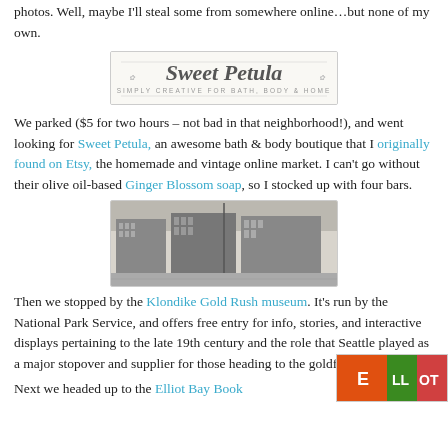photos. Well, maybe I'll steal some from somewhere online…but none of my own.
[Figure (logo): Sweet Petula logo - cursive script text on light background with decorative flourishes]
We parked ($5 for two hours – not bad in that neighborhood!), and went looking for Sweet Petula, an awesome bath & body boutique that I originally found on Etsy, the homemade and vintage online market. I can't go without their olive oil-based Ginger Blossom soap, so I stocked up with four bars.
[Figure (photo): Historical black and white panoramic photograph of Seattle city buildings and street scene from late 19th century]
Then we stopped by the Klondike Gold Rush museum. It's run by the National Park Service, and offers free entry for info, stories, and interactive displays pertaining to the late 19th century and the role that Seattle played as a major stopover and supplier for those heading to the goldfields.
Next we headed up to the Elliot Bay Book
[Figure (photo): Colorful book cover or store image, partially visible at bottom right corner]